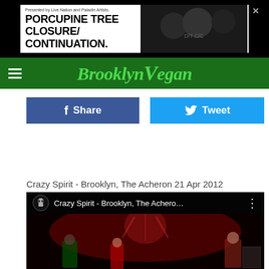[Figure (other): Advertisement banner: Porcupine Tree Closure/Continuation, presented by Live Nation and Paladin Artists, with photo of band members]
[Figure (logo): BrooklynVegan website logo in green italic text on dark green navigation bar with hamburger menu icon]
Share
Tweet
Crazy Spirit - Brooklyn, The Acheron 21 Apr 2012
[Figure (screenshot): YouTube embedded video player showing Crazy Spirit - Brooklyn, The Achero... with band performing on stage in red lighting]